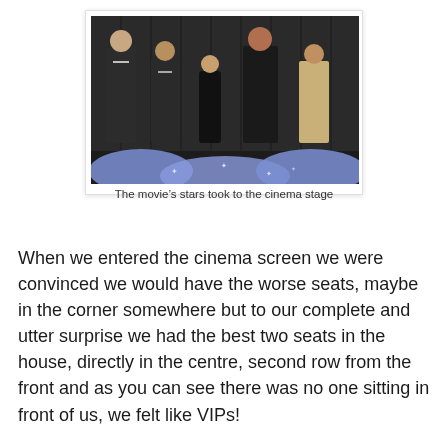[Figure (photo): Five people standing on a cinema stage in formal attire in front of dark curtains, with illuminated blue decorative spheres at the bottom of the stage.]
The movie’s stars took to the cinema stage
When we entered the cinema screen we were convinced we would have the worse seats, maybe in the corner somewhere but to our complete and utter surprise we had the best two seats in the house, directly in the centre, second row from the front and as you can see there was no one sitting in front of us, we felt like VIPs!